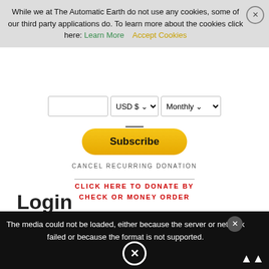While we at The Automatic Earth do not use any cookies, some of our third party applications do. To learn more about the cookies click here: Learn More  Accept Cookies
[Figure (screenshot): Donation widget with amount input field, USD $ currency selector, Monthly frequency selector, Subscribe button, Cancel Recurring Donation link, and Click Here To Donate By Check Or Money Order link]
Search
Login
The media could not be loaded, either because the server or network failed or because the format is not supported.